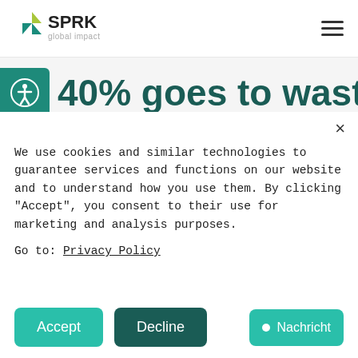[Figure (logo): SPRK global impact logo — green/teal chevron icon with text 'SPRK' and 'global impact']
[Figure (illustration): Hamburger menu icon (three horizontal lines)]
40% goes to waste
[Figure (illustration): Accessibility icon button (person in circle) on teal background]
×
We use cookies and similar technologies to guarantee services and functions on our website and to understand how you use them. By clicking "Accept", you consent to their use for marketing and analysis purposes.
Go to: Privacy Policy
Accept
Decline
● Nachricht